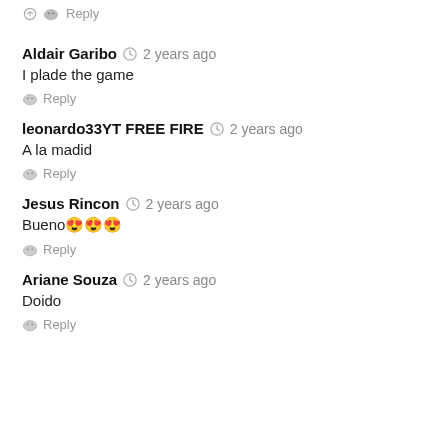Reply
Aldair Garibo · 2 years ago
I plade the game
Reply
leonardo33YT FREE FIRE · 2 years ago
A la madid
Reply
Jesus Rincon · 2 years ago
Bueno 😍😍😍
Reply
Ariane Souza · 2 years ago
Doido
Reply